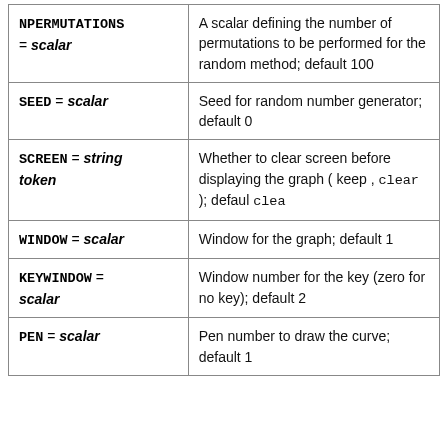| Parameter | Description |
| --- | --- |
| NPERMUTATIONS = scalar | A scalar defining the number of permutations to be performed for the random method; default 100 |
| SEED = scalar | Seed for random number generator; default 0 |
| SCREEN = string token | Whether to clear screen before displaying the graph ( keep , clear ); defaul clea |
| WINDOW = scalar | Window for the graph; default 1 |
| KEYWINDOW = scalar | Window number for the key (zero for no key); default 2 |
| PEN = scalar | Pen number to draw the curve; default 1 |